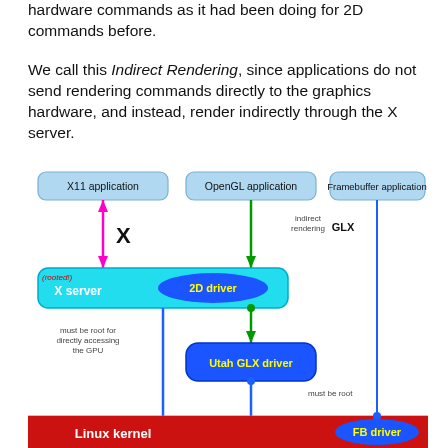hardware commands as it had been doing for 2D commands before.
We call this Indirect Rendering, since applications do not send rendering commands directly to the graphics hardware, and instead, render indirectly through the X server.
[Figure (flowchart): Diagram showing X11 application, OpenGL application, and Framebuffer application at the top. X11 app connects via pink arrows (X) to X server (rooted!). OpenGL app connects via indirect rendering GLX (green arrow) to X server with 2D driver (cyan box). X server connects down via green arrow to Utah GLX driver (blue box). Framebuffer application connects via blue line down to FB driver in Linux kernel (red bar). Annotations: 'must be root for directly accessing the GPU', 'must be root'. Linux kernel shown as red bar at the bottom.]